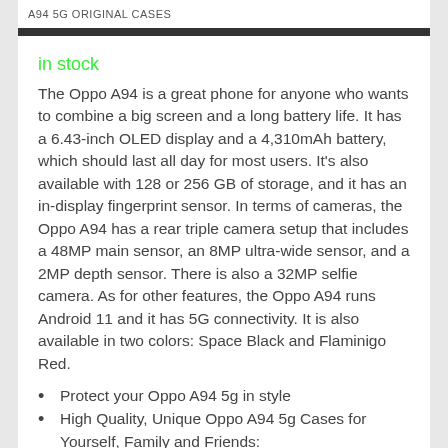A94 5G ORIGINAL CASES
in stock
The Oppo A94 is a great phone for anyone who wants to combine a big screen and a long battery life. It has a 6.43-inch OLED display and a 4,310mAh battery, which should last all day for most users. It's also available with 128 or 256 GB of storage, and it has an in-display fingerprint sensor. In terms of cameras, the Oppo A94 has a rear triple camera setup that includes a 48MP main sensor, an 8MP ultra-wide sensor, and a 2MP depth sensor. There is also a 32MP selfie camera. As for other features, the Oppo A94 runs Android 11 and it has 5G connectivity. It is also available in two colors: Space Black and Flaminigo Red.
Protect your Oppo A94 5g in style
High Quality, Unique Oppo A94 5g Cases for Yourself, Family and Friends: